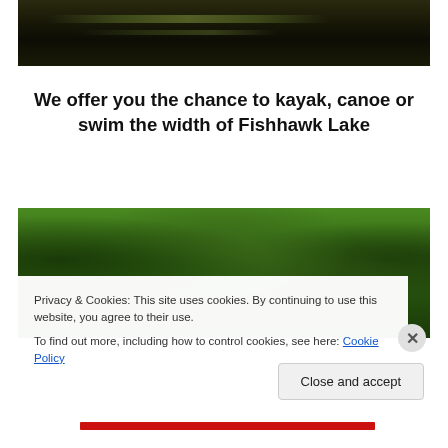[Figure (photo): Dark nature/water photo showing dark background with greenish streaks of light, possibly foliage or water reflections]
We offer you the chance to kayak, canoe or swim the width of Fishhawk Lake
[Figure (photo): Green foliage/trees photo showing dense green canopy]
Privacy & Cookies: This site uses cookies. By continuing to use this website, you agree to their use.
To find out more, including how to control cookies, see here: Cookie Policy
Close and accept